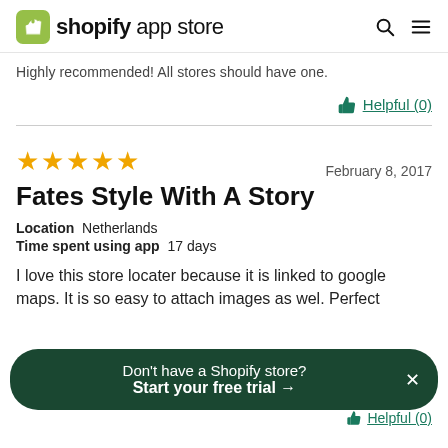shopify app store
Highly recommended! All stores should have one.
Helpful (0)
★★★★★  February 8, 2017
Fates Style With A Story
Location  Netherlands
Time spent using app  17 days
I love this store locater because it is linked to google maps. It is so easy to attach images as wel. Perfect
Don't have a Shopify store? Start your free trial →